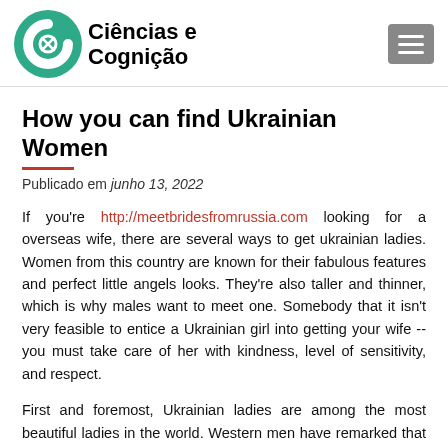Ciências e Cognição
How you can find Ukrainian Women
Publicado em junho 13, 2022
If you're http://meetbridesfromrussia.com looking for a overseas wife, there are several ways to get ukrainian ladies. Women from this country are known for their fabulous features and perfect little angels looks. They're also taller and thinner, which is why males want to meet one. Somebody that it isn't very feasible to entice a Ukrainian girl into getting your wife -- you must take care of her with kindness, level of sensitivity, and respect.
First and foremost, Ukrainian ladies are among the most beautiful ladies in the world. Western men have remarked that Ukrainian women are very beautiful. They